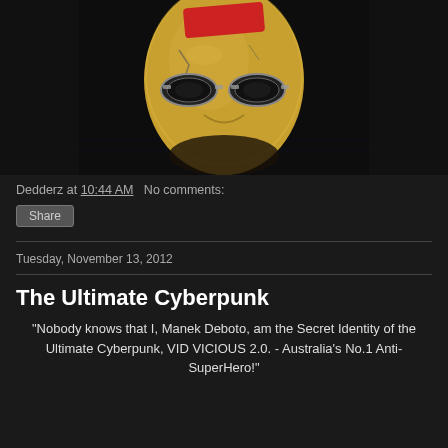[Figure (photo): A dramatic cyberpunk-style mask — golden/tan colored with dark eye slits containing goggle-like metallic lenses, red stripe/band across the top, against a dark background with subtle blue lighting reflections on the surface beneath.]
Dedderz at 10:44 AM   No comments:
Share
Tuesday, November 13, 2012
The Ultimate Cyberpunk
"Nobody knows that I, Manek Deboto, am the Secret Identity of the Ultimate Cyberpunk, VID VICIOUS 2.0. - Australia's No.1 Anti-SuperHero!"